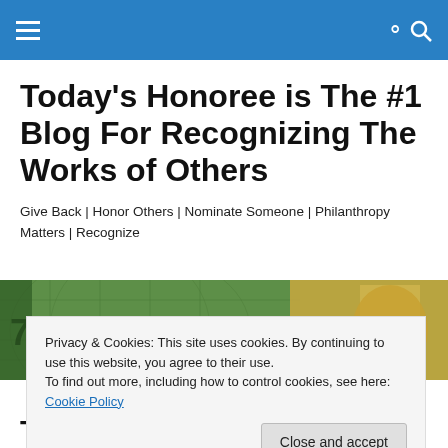Today's Honoree is The #1 Blog For Recognizing The Works of Others
Give Back | Honor Others | Nominate Someone | Philanthropy Matters | Recognize
[Figure (photo): Partial view of a trophy and world map background in green and gold tones]
Privacy & Cookies: This site uses cookies. By continuing to use this website, you agree to their use.
To find out more, including how to control cookies, see here: Cookie Policy
Close and accept
Today's Honoree for